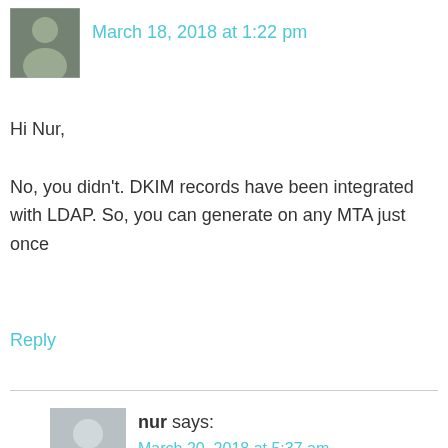[Figure (photo): Small profile photo of a person (appears to be a man)]
March 18, 2018 at 1:22 pm
Hi Nur,
No, you didn't. DKIM records have been integrated with LDAP. So, you can generate on any MTA just once
Reply
[Figure (illustration): Generic gray avatar silhouette placeholder]
nur says:
March 20, 2018 at 5:37 am
Hi Iman,
Thanks for replying.